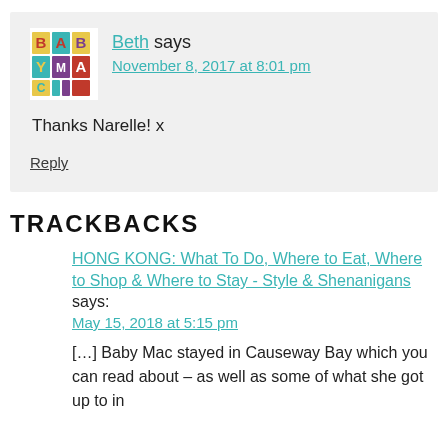Beth says
November 8, 2017 at 8:01 pm
Thanks Narelle! x
Reply
TRACKBACKS
HONG KONG: What To Do, Where to Eat, Where to Shop & Where to Stay - Style & Shenanigans says:
May 15, 2018 at 5:15 pm
[…] Baby Mac stayed in Causeway Bay which you can read about – as well as some of what she got up to in